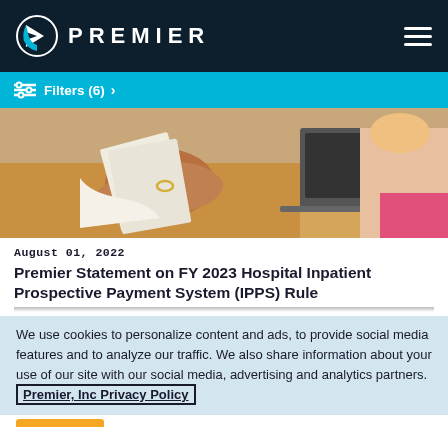PREMIER
Filters (6)  >
[Figure (photo): Person holding papers at a desk, with a laptop visible in the background. Healthcare/administrative setting.]
August 01, 2022
Premier Statement on FY 2023 Hospital Inpatient Prospective Payment System (IPPS) Rule
We use cookies to personalize content and ads, to provide social media features and to analyze our traffic. We also share information about your use of our site with our social media, advertising and analytics partners. Premier, Inc Privacy Policy